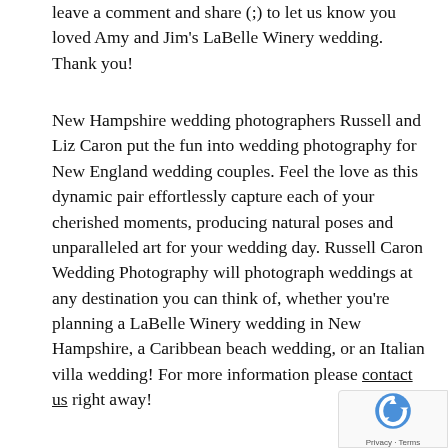leave a comment and share (;) to let us know you loved Amy and Jim's LaBelle Winery wedding. Thank you!
New Hampshire wedding photographers Russell and Liz Caron put the fun into wedding photography for New England wedding couples. Feel the love as this dynamic pair effortlessly capture each of your cherished moments, producing natural poses and unparalleled art for your wedding day. Russell Caron Wedding Photography will photograph weddings at any destination you can think of, whether you're planning a LaBelle Winery wedding in New Hampshire, a Caribbean beach wedding, or an Italian villa wedding! For more information please contact us right away!
[Figure (other): Google reCAPTCHA badge with logo and Privacy · Terms text]